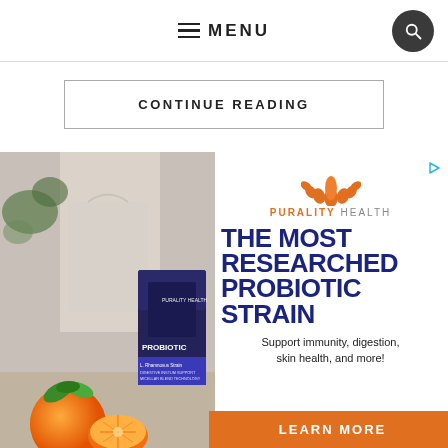≡ MENU
CONTINUE READING
[Figure (screenshot): Advertisement for Purality Health Micellar Liposomal Probiotic product with orange fruit imagery and product package on left side, and Purality Health logo, text 'THE MOST RESEARCHED PROBIOTIC STRAIN', 'Support immunity, digestion, skin health, and more!', and 'LEARN MORE' button on right side.]